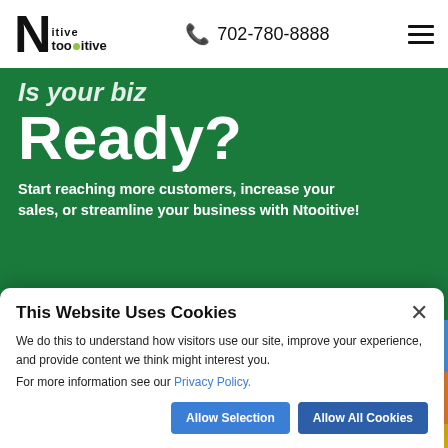[Figure (logo): Ntooitive logo with large N and tooitive text with green dot]
702-780-8888
[Figure (illustration): Hamburger menu icon (three horizontal lines)]
Ready?
Start reaching more customers, increase your sales, or streamline your business with Ntooitive!
Say hi
[Figure (illustration): Accessibility widget icons on right side: blue circular arrow, orange person icon, yellow contrast icon, blue wheelchair icon]
This Website Uses Cookies
We do this to understand how visitors use our site, improve your experience, and provide content we think might interest you.
For more information see our Privacy Policy.